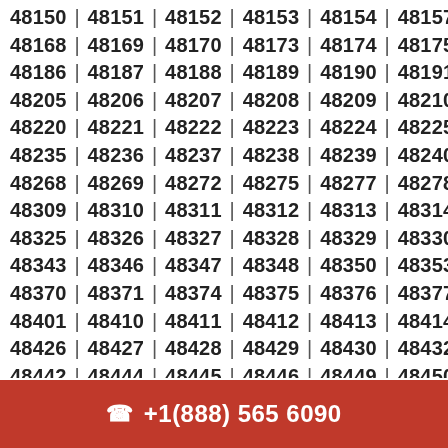48150 | 48151 | 48152 | 48153 | 48154 | 48157 | 4…
48168 | 48169 | 48170 | 48173 | 48174 | 48175 | 4…
48186 | 48187 | 48188 | 48189 | 48190 | 48191 | 4…
48205 | 48206 | 48207 | 48208 | 48209 | 48210 | 4…
48220 | 48221 | 48222 | 48223 | 48224 | 48225 | 4…
48235 | 48236 | 48237 | 48238 | 48239 | 48240 | 4…
48268 | 48269 | 48272 | 48275 | 48277 | 48278 | 4…
48309 | 48310 | 48311 | 48312 | 48313 | 48314 | 4…
48325 | 48326 | 48327 | 48328 | 48329 | 48330 | 4…
48343 | 48346 | 48347 | 48348 | 48350 | 48353 | 4…
48370 | 48371 | 48374 | 48375 | 48376 | 48377 | 4…
48401 | 48410 | 48411 | 48412 | 48413 | 48414 | 4…
48426 | 48427 | 48428 | 48429 | 48430 | 48432 | 4…
48442 | 48444 | 48445 | 48446 | 48449 | 48450 | 4…
48462 | 48463 | 48464 | 48465 | 48466 | 48467 | 4…
☎ +1(888) 565 6090